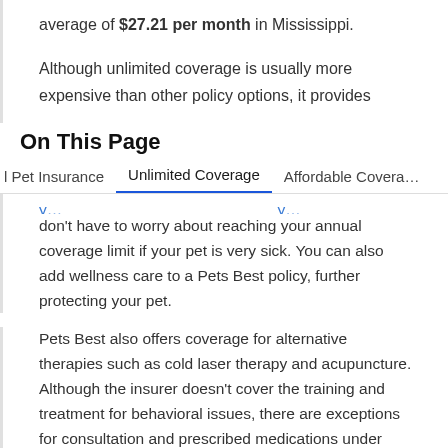average of $27.21 per month in Mississippi.

Although unlimited coverage is usually more expensive than other policy options, it provides
On This Page
l Pet Insurance   Unlimited Coverage   Affordable Covera…
don't have to worry about reaching your annual coverage limit if your pet is very sick. You can also add wellness care to a Pets Best policy, further protecting your pet.
Pets Best also offers coverage for alternative therapies such as cold laser therapy and acupuncture. Although the insurer doesn't cover the training and treatment for behavioral issues, there are exceptions for consultation and prescribed medications under supplemental benefits.